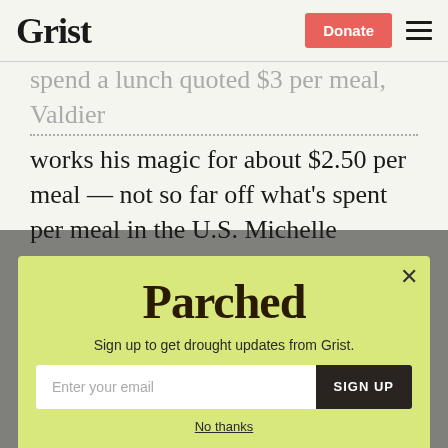Grist | Donate | Menu
spend a lunch quoted $3 per meal, Valdier works his magic for about $2.50 per meal — not so far off what's spent per meal in the U.S. Michelle Obama has been pushing restaurant chefs here in the U.S. to get involved in school lunch — but this takes it to a whole other level.
[Figure (other): Parched newsletter signup modal with yellow-green background. Contains 'Parched' logo text, subtitle 'Sign up to get drought updates from Grist.', email input field, SIGN UP button, and 'No thanks' link.]